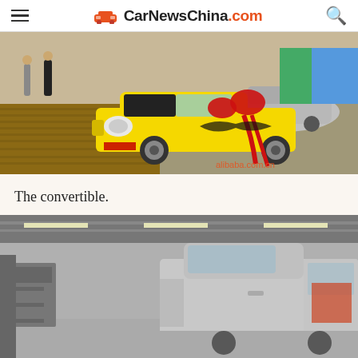CarNewsChina.com
[Figure (photo): Yellow convertible car with red bow/ribbon decoration displayed outdoors on a wooden deck area, with other cars visible in the background. Watermark reads alibaba.com.cn]
The convertible.
[Figure (photo): Silver pickup truck photographed inside an industrial warehouse or factory building with fluorescent lighting]